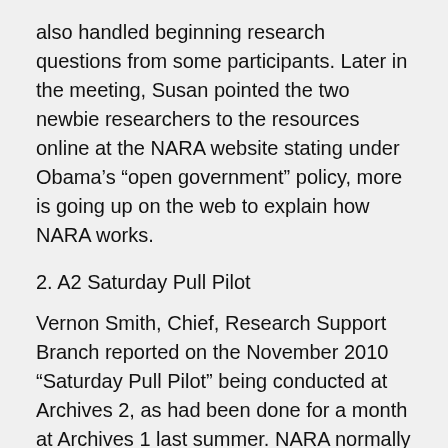also handled beginning research questions from some participants. Later in the meeting, Susan pointed the two newbie researchers to the resources online at the NARA website stating under Obama's “open government” policy, more is going up on the web to explain how NARA works.
2. A2 Saturday Pull Pilot
Vernon Smith, Chief, Research Support Branch reported on the November 2010 “Saturday Pull Pilot” being conducted at Archives 2, as had been done for a month at Archives 1 last summer. NARA normally “pulls” files for research review only Monday through Friday, though it is possible to view them during normal NARA hours that include Saturday. He reported that the difference between the